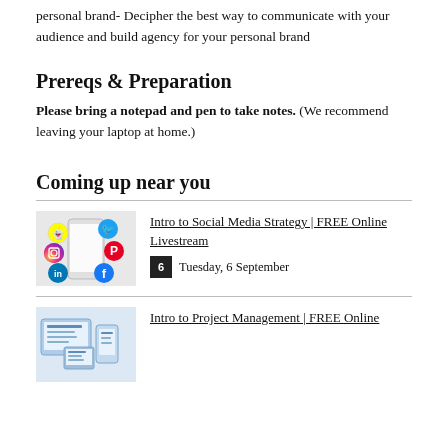personal brand- Decipher the best way to communicate with your audience and build agency for your personal brand
Prereqs & Preparation
Please bring a notepad and pen to take notes. (We recommend leaving your laptop at home.)
Coming up near you
[Figure (illustration): Hand holding a smartphone surrounded by social media icons: Snapchat, LinkedIn, Instagram, Pinterest, Twitter, Facebook]
Intro to Social Media Strategy | FREE Online Livestream
Tuesday, 6 September
[Figure (illustration): Intro to Project Management thumbnail image]
Intro to Project Management | FREE Online